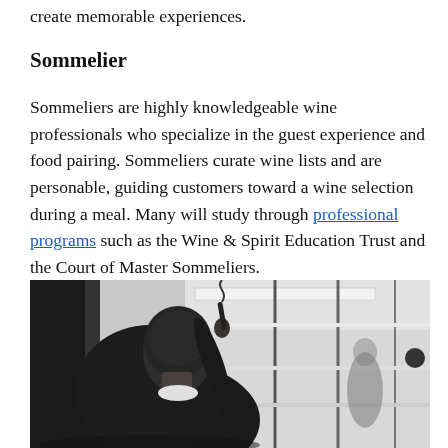create memorable experiences.
Sommelier
Sommeliers are highly knowledgeable wine professionals who specialize in the guest experience and food pairing. Sommeliers curate wine lists and are personable, guiding customers toward a wine selection during a meal. Many will study through professional programs such as the Wine & Spirit Education Trust and the Court of Master Sommeliers.
[Figure (photo): Black and white photograph of a sommelier viewed from behind, holding a corkscrew up near his face, with a blurred background showing glass partitions and another figure.]